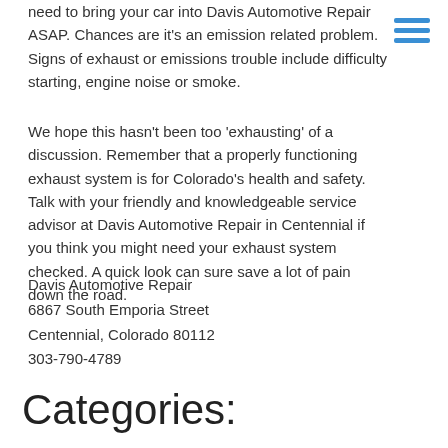Chances are it's an emission related problem. Signs of exhaust or emissions trouble include difficulty starting, engine noise or smoke.
We hope this hasn't been too 'exhausting' of a discussion. Remember that a properly functioning exhaust system is for Colorado's health and safety. Talk with your friendly and knowledgeable service advisor at Davis Automotive Repair in Centennial if you think you might need your exhaust system checked. A quick look can sure save a lot of pain down the road.
Davis Automotive Repair
6867 South Emporia Street
Centennial, Colorado 80112
303-790-4789
Categories: